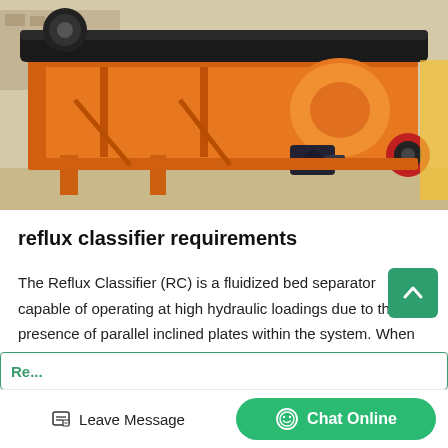[Figure (photo): Orange industrial reflux classifier / fluidized bed separator machine with belt conveyor on top, electric motors visible, photographed outdoors on sandy/concrete ground.]
reflux classifier requirements
The Reflux Classifier (RC) is a fluidized bed separator capable of operating at high hydraulic loadings due to the presence of parallel inclined plates within the system. When the fluidized